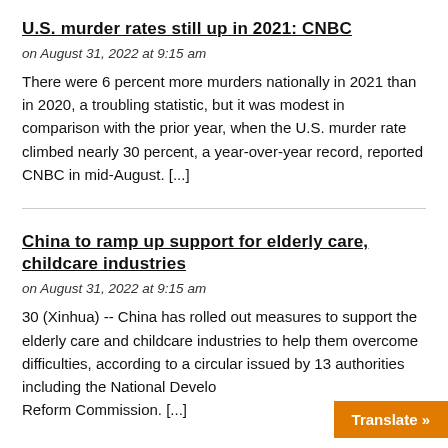U.S. murder rates still up in 2021: CNBC
on August 31, 2022 at 9:15 am
There were 6 percent more murders nationally in 2021 than in 2020, a troubling statistic, but it was modest in comparison with the prior year, when the U.S. murder rate climbed nearly 30 percent, a year-over-year record, reported CNBC in mid-August. [...]
China to ramp up support for elderly care, childcare industries
on August 31, 2022 at 9:15 am
30 (Xinhua) -- China has rolled out measures to support the elderly care and childcare industries to help them overcome difficulties, according to a circular issued by 13 authorities including the National Development and Reform Commission. [...]